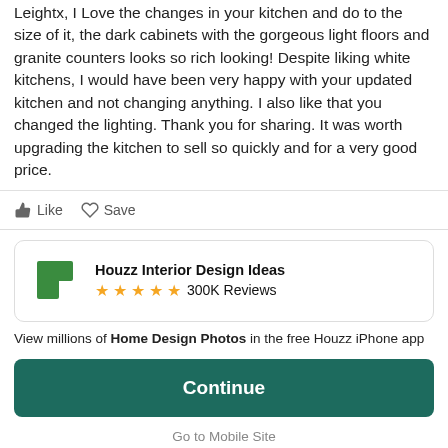Leightx, I Love the changes in your kitchen and do to the size of it, the dark cabinets with the gorgeous light floors and granite counters looks so rich looking! Despite liking white kitchens, I would have been very happy with your updated kitchen and not changing anything. I also like that you changed the lighting. Thank you for sharing. It was worth upgrading the kitchen to sell so quickly and for a very good price.
Like   Save
[Figure (screenshot): Houzz Interior Design Ideas app promo card with green logo icon, five gold stars, and 300K Reviews]
View millions of Home Design Photos in the free Houzz iPhone app
Continue
Go to Mobile Site